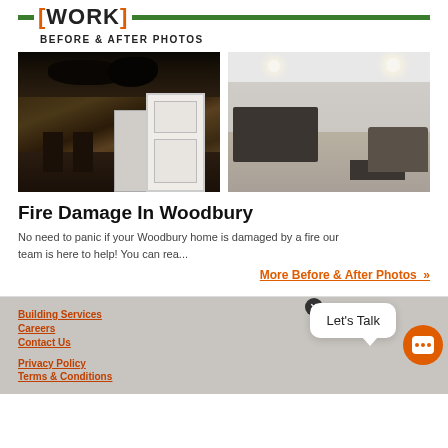[WORK] BEFORE & AFTER PHOTOS
[Figure (photo): Before photo showing fire-damaged kitchen interior with burned ceiling, damaged cabinets, and debris]
[Figure (photo): After photo showing renovated modern open-plan living room and kitchen with clean finishes]
Fire Damage In Woodbury
No need to panic if your Woodbury home is damaged by a fire our team is here to help! You can rea...
More Before & After Photos »
Building Services
Careers
Contact Us
Privacy Policy
Terms & Conditions